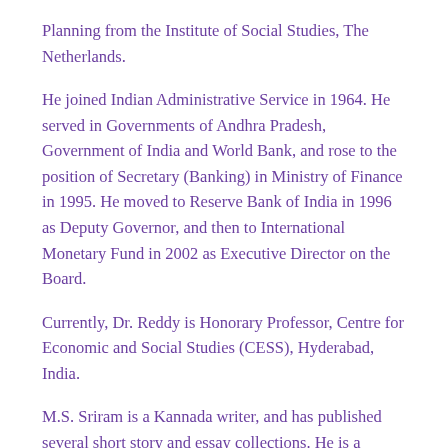Planning from the Institute of Social Studies, The Netherlands.
He joined Indian Administrative Service in 1964. He served in Governments of Andhra Pradesh, Government of India and World Bank, and rose to the position of Secretary (Banking) in Ministry of Finance in 1995. He moved to Reserve Bank of India in 1996 as Deputy Governor, and then to International Monetary Fund in 2002 as Executive Director on the Board.
Currently, Dr. Reddy is Honorary Professor, Centre for Economic and Social Studies (CESS), Hyderabad, India.
M.S. Sriram is a Kannada writer, and has published several short story and essay collections. He is a Distinguished Fellow of the Institute for Development of Research in Banking Technology. He was the first Vice-president (Finance and Information) at BASIX, the first commercial microfinance institution in India. He